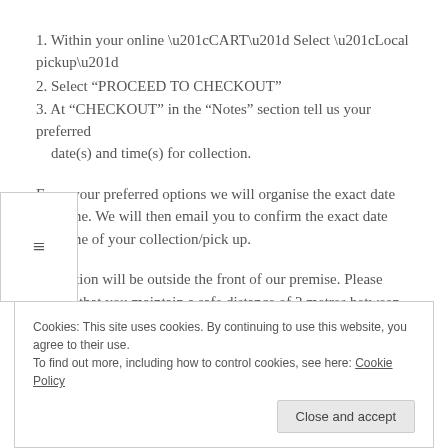1. Within your online “CART” Select “Local pickup”
2. Select “PROCEED TO CHECKOUT”
3. At “CHECKOUT” in the “Notes” section tell us your preferred date(s) and time(s) for collection.
From your preferred options we will organise the exact date and time.  We will then email you to confirm the exact date and time of your collection/pick up.
Collection will be outside the front of our premise.  Please ensure that you maintain a safe distance of 2 metres between anyone you may meet at our premises.  Thank you.
Cookies: This site uses cookies. By continuing to use this website, you agree to their use.
To find out more, including how to control cookies, see here: Cookie Policy